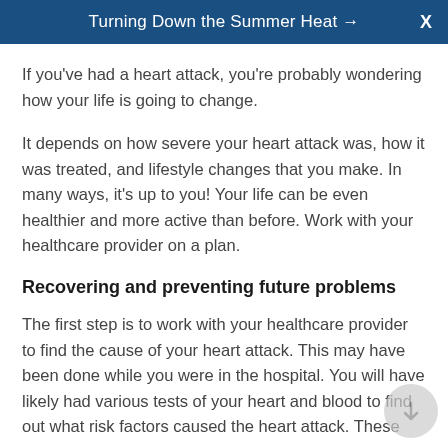Turning Down the Summer Heat →
If you've had a heart attack, you're probably wondering how your life is going to change.
It depends on how severe your heart attack was, how it was treated, and lifestyle changes that you make. In many ways, it's up to you! Your life can be even healthier and more active than before. Work with your healthcare provider on a plan.
Recovering and preventing future problems
The first step is to work with your healthcare provider to find the cause of your heart attack. This may have been done while you were in the hospital. You will have likely had various tests of your heart and blood to find out what risk factors caused the heart attack. These